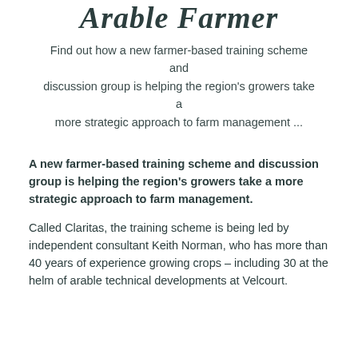Arable Farmer
Find out how a new farmer-based training scheme and discussion group is helping the region's growers take a more strategic approach to farm management ...
A new farmer-based training scheme and discussion group is helping the region's growers take a more strategic approach to farm management.
Called Claritas, the training scheme is being led by independent consultant Keith Norman, who has more than 40 years of experience growing crops – including 30 at the helm of arable technical developments at Velcourt.